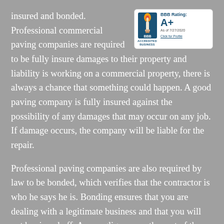insured and bonded. Professional commercial paving companies are required to be fully insured damages to their property and liability is working on a commercial property, there is always a chance that something could happen. A good paving company is fully insured against the possibility of any damages that may occur on any job. If damage occurs, the company will be liable for the repair.
[Figure (logo): BBB Accredited Business badge showing BBB Rating: A+ as of 7/27/2020 with Click for Profile link]
Professional paving companies are also required by law to be bonded, which verifies that the contractor is who he says he is. Bonding ensures that you are dealing with a legitimate business and that you will not be ripped off. Any negligence on the part of the paving company will result in legal action. Remember, anything you cover on your paving job, will also be taken care of by the bonded asphalt paving contractor.